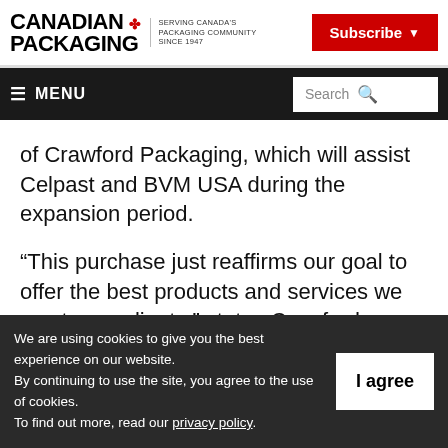CANADIAN PACKAGING — SERVING CANADA'S PACKAGING COMMUNITY SINCE 1947 | Subscribe | MENU | Search
of Crawford Packaging, which will assist Celpast and BVM USA during the expansion period.
“This purchase just reaffirms our goal to offer the best products and services we can to our clients,” states Crawford Packaging president
We are using cookies to give you the best experience on our website. By continuing to use the site, you agree to the use of cookies. To find out more, read our privacy policy.